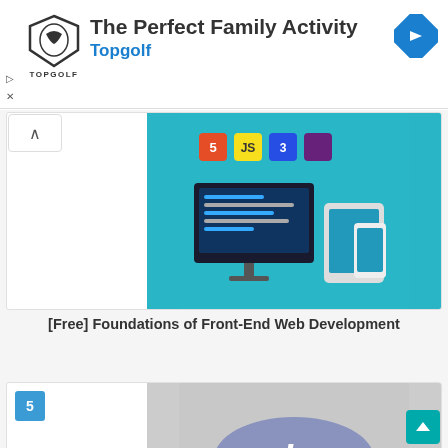[Figure (screenshot): Topgolf advertisement banner with logo, headline 'The Perfect Family Activity', subline 'Topgolf', and navigation arrow icon]
[Figure (screenshot): Web development course thumbnail showing HTML5, JS, CSS3, and other front-end technology icons with devices on teal background]
[Free] Foundations of Front-End Web Development
[Figure (screenshot): PHP 7 course thumbnail showing PHP logo with '5 7' version numbers on gray background]
Learn PHP 7 This Way to Rise Above & Beyond Competition! [Free]